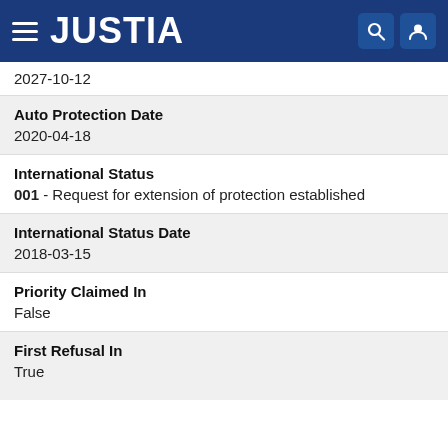JUSTIA
2027-10-12
Auto Protection Date
2020-04-18
International Status
001 - Request for extension of protection established
International Status Date
2018-03-15
Priority Claimed In
False
First Refusal In
True